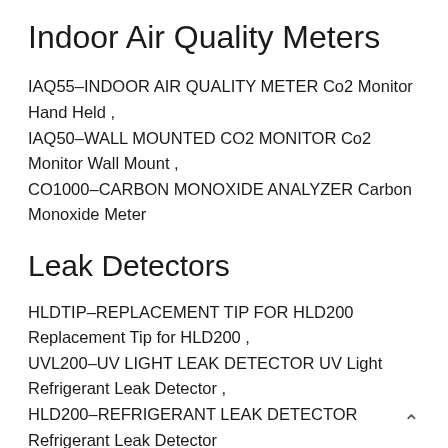Indoor Air Quality Meters
IAQ55–INDOOR AIR QUALITY METER Co2 Monitor Hand Held ,
IAQ50–WALL MOUNTED CO2 MONITOR Co2 Monitor Wall Mount ,
CO1000–CARBON MONOXIDE ANALYZER Carbon Monoxide Meter
Leak Detectors
HLDTIP–REPLACEMENT TIP FOR HLD200 Replacement Tip for HLD200 ,
UVL200–UV LIGHT LEAK DETECTOR UV Light Refrigerant Leak Detector ,
HLD200–REFRIGERANT LEAK DETECTOR Refrigerant Leak Detector